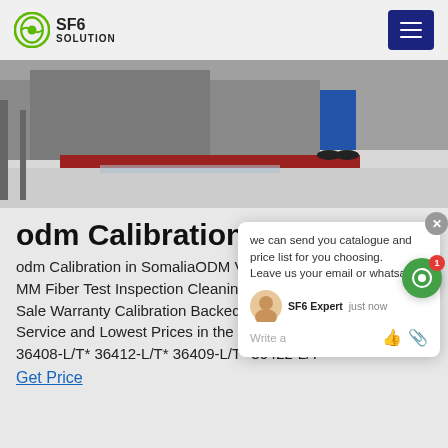[Figure (logo): SF6 Solution logo with circular green icon and bold text]
[Figure (photo): Outdoor industrial site with equipment, snow on ground, person in blue pants visible]
odm Calibration in So
odm Calibration in SomaliaODM VIS MM Fiber Test Inspection Cleaning Sale Warranty Calibration Backed b Service and Lowest Prices in the Industry. BC# 36408-L/T* 36412-L/T* 36409-L/T* 36422-L/T*
Get Price